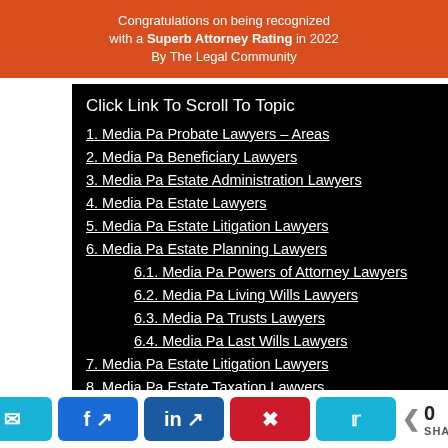[Figure (photo): Orange/red banner congratulating on a Superb Attorney Rating in 2022 by The Legal Community]
Click Link To Scroll To Topic
1. Media Pa Probate Lawyers – Areas
2. Media Pa Beneficiary Lawyers
3. Media Pa Estate Administration Lawyers
4. Media Pa Estate Lawyers
5. Media Pa Estate Litigation Lawyers
6. Media Pa Estate Planning Lawyers
6.1. Media Pa Powers of Attorney Lawyers
6.2. Media Pa Living Wills Lawyers
6.3. Media Pa Trusts Lawyers
6.4. Media Pa Last Wills Lawyers
7. Media Pa Estate Litigation Lawyers
8. Media Pa Estate Taxation Lawyers